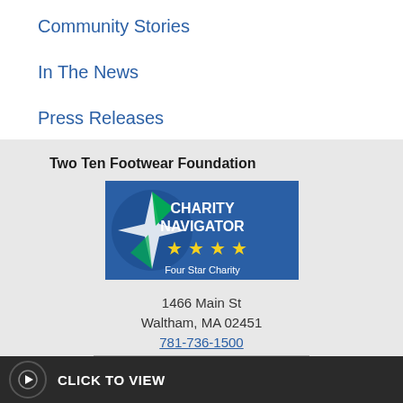Community Stories
In The News
Press Releases
Two Ten News
Two Ten Footwear Foundation
[Figure (logo): Charity Navigator Four Star Charity badge logo with blue background, compass/star graphic on left, 'CHARITY NAVIGATOR' text, and four yellow stars with 'Four Star Charity' text below]
1466 Main St
Waltham, MA 02451
781-736-1500
CLICK TO VIEW